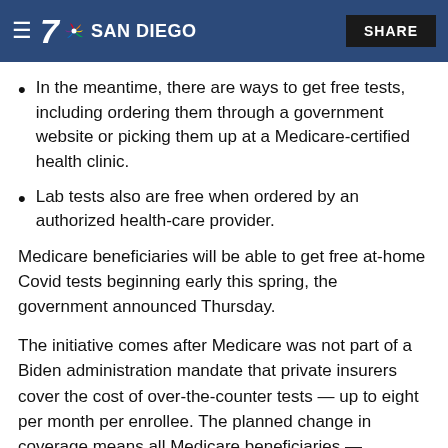7 NBC SAN DIEGO | SHARE
In the meantime, there are ways to get free tests, including ordering them through a government website or picking them up at a Medicare-certified health clinic.
Lab tests also are free when ordered by an authorized health-care provider.
Medicare beneficiaries will be able to get free at-home Covid tests beginning early this spring, the government announced Thursday.
The initiative comes after Medicare was not part of a Biden administration mandate that private insurers cover the cost of over-the-counter tests — up to eight per month per enrollee. The planned change in coverage means all Medicare beneficiaries — including those on Advantage Plans — will